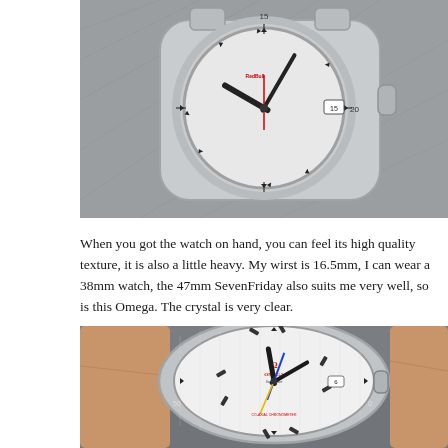[Figure (photo): Close-up photo of an Omega Seamaster Aqua Terra watch on a grey leather surface, showing the silver dial with black hands, date window, and Red Bull logo. Stainless steel case and bracelet visible.]
When you got the watch on hand, you can feel its high quality texture, it is also a little heavy. My wirst is 16.5mm, I can wear a 38mm watch, the 47mm SevenFriday also suits me very well, so is this Omega. The crystal is very clear.
[Figure (photo): Close-up photo of an Omega Seamaster Aqua Terra watch held in hand, showing the white dial with black sword hands, blue and yellow second hand, Omega logo, date window, and red inscription at bottom. Stainless steel case and bracelet visible.]